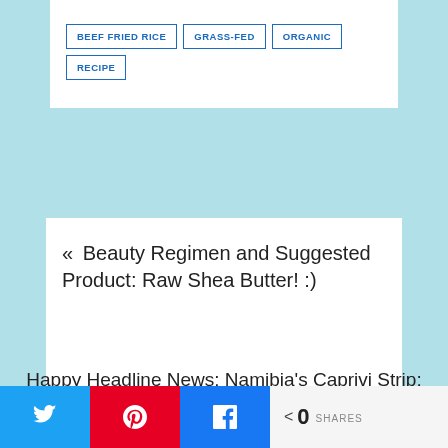BEEF FRIED RICE
GRASS-FED
ORGANIC
RECIPE
« Beauty Regimen and Suggested Product: Raw Shea Butter! :)
Happy Headline News: Namibia's Caprivi Strip: Africa Forbidden Zone Now
0 SHARES